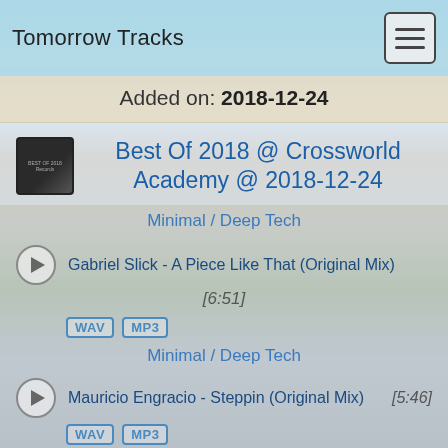Tomorrow Tracks
Added on: 2018-12-24
Best Of 2018 @ Crossworld Academy @ 2018-12-24
Minimal / Deep Tech
Gabriel Slick - A Piece Like That (Original Mix) [6:51] WAV MP3
Minimal / Deep Tech
Mauricio Engracio - Steppin (Original Mix) [5:46] WAV MP3
Minimal / Deep Tech